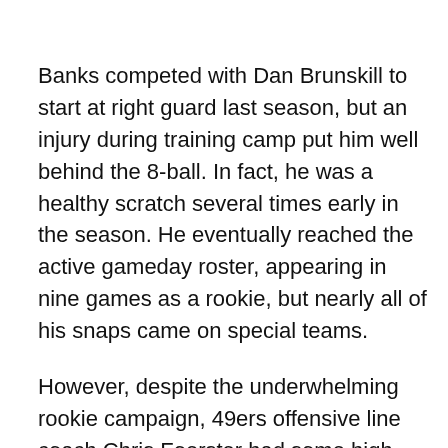Banks competed with Dan Brunskill to start at right guard last season, but an injury during training camp put him well behind the 8-ball. In fact, he was a healthy scratch several times early in the season. He eventually reached the active gameday roster, appearing in nine games as a rookie, but nearly all of his snaps came on special teams.
However, despite the underwhelming rookie campaign, 49ers offensive line coach Chris Foerster had some high praise for Banks with Matt Barrows and David Lombardi of The Athletic. According to The Athletic, "Foerster is bullish about Banks' potential to take over the starting left guard spot vacated by Laken Tomlinson."